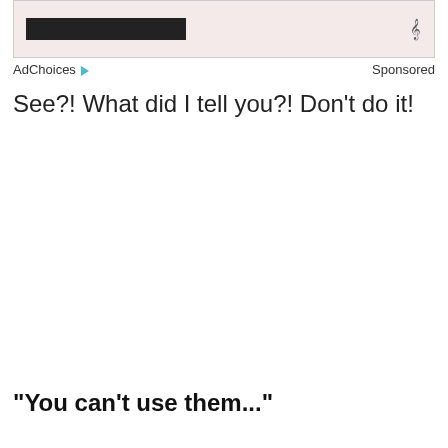[Figure (other): Ad banner with dark bar and audio waveform icon on pink/beige background]
AdChoices ▶  Sponsored
See?! What did I tell you?! Don't do it!
"You can't use them..."